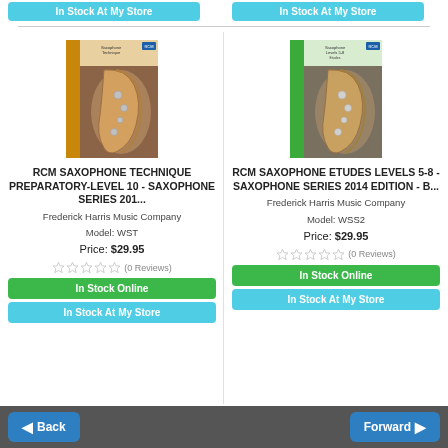In Stock At My Store
In Stock At My Store
[Figure (photo): Book cover for RCM Saxophone Technique Preparatory-Level 10 - Saxophone Series 2014, showing a saxophone image with brown/tan spine]
RCM SAXOPHONE TECHNIQUE PREPARATORY-LEVEL 10 - SAXOPHONE SERIES 201...
Frederick Harris Music Company
Model: WST
Price: $29.95
(0 Reviews)
In Stock Online
In Stock At My Store
[Figure (photo): Book cover for RCM Saxophone Etudes Levels 5-8 - Saxophone Series 2014, showing a saxophone image with green spine]
RCM SAXOPHONE ETUDES LEVELS 5-8 - SAXOPHONE SERIES 2014 EDITION - B...
Frederick Harris Music Company
Model: WSS2
Price: $29.95
(0 Reviews)
In Stock Online
In Stock At My Store
Back   Forward